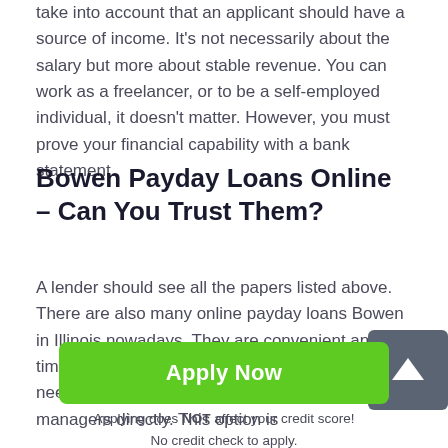take into account that an applicant should have a source of income. It's not necessarily about the salary but more about stable revenue. You can work as a freelancer, or to be a self-employed individual, it doesn't matter. However, you must prove your financial capability with a bank statement.
Bowen Payday Loans Online – Can You Trust Them?
A lender should see all the papers listed above. There are also many online payday loans Bowen in Illinois nowadays. They are convenient and timesaving. They to the vast target audience's needs and offer phone numbers to contact the managers directly. This option is
Apply Now
Applying does NOT affect your credit score!
No credit check to apply.